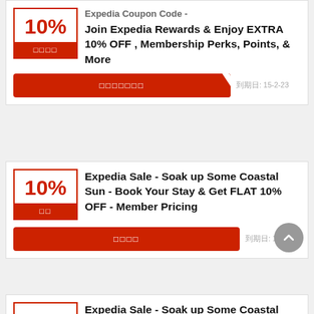Expedia Coupon Code - Join Expedia Rewards & Enjoy EXTRA 10% OFF, Membership Perks, Points, & More
xxxxxxx · 到期日: 15-2-23
Expedia Sale - Soak up Some Coastal Sun - Book Your Stay & Get FLAT 10% OFF - Member Pricing
xxxx · 到期日: 1-2-23
Expedia Sale - Soak up Some Coastal Sun FLAT 10% OFF Stop Booking With More